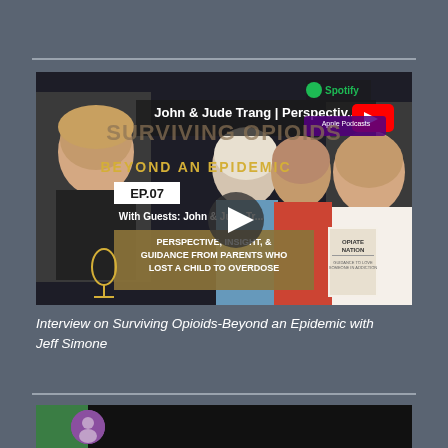[Figure (screenshot): Video thumbnail for podcast episode: 'John & Jude Trang | Perspectiv...' on Surviving Opioids - Beyond an Epidemic, EP.07, with guests John & Jude Trang. Shows two podcast hosts and guests holding a book titled 'Opiate Nation'. Includes Spotify and Apple Podcasts logos and a YouTube play button. Text overlay: 'PERSPECTIVE, INSIGHT, & GUIDANCE FROM PARENTS WHO LOST A CHILD TO OVERDOSE'.]
Interview on Surviving Opioids-Beyond an Epidemic with Jeff Simone
[Figure (screenshot): Partial view of another video/podcast thumbnail showing a green background section and a purple circular avatar/icon at the bottom of the page.]